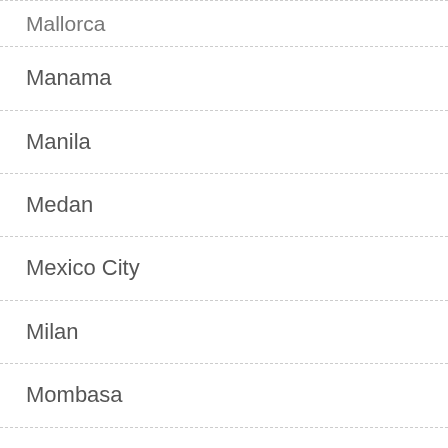Mallorca
Manama
Manila
Medan
Mexico City
Milan
Mombasa
Munich